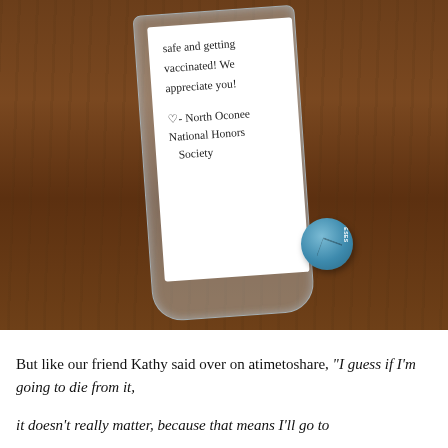[Figure (photo): Photo of a plastic bag on a wooden surface containing a handwritten note and a blue cookie. The note reads: 'safe and getting vaccinated! We appreciate you! ♡ - North Oconee National Honors Society'. A blue cracked cookie with a label is also visible inside the bag.]
But like our friend Kathy said over on atimetoshare, "I guess if I'm going to die from it, it doesn't really matter, because that means I'll go to